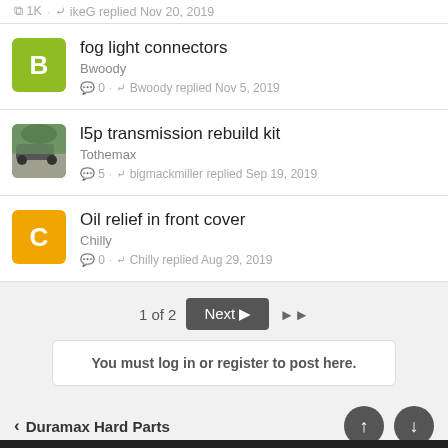1K · ikeG replied Nov 20, 2019
fog light connectors
Bwoody
0 · Bwoody replied Nov 5, 2019
l5p transmission rebuild kit
Tothemax
5 · bigmackmiller replied Sep 19, 2019
Oil relief in front cover
Chilly
0 · Chilly replied Aug 29, 2019
1 of 2  Next  ▶▶
You must log in or register to post here.
‹ Duramax Hard Parts